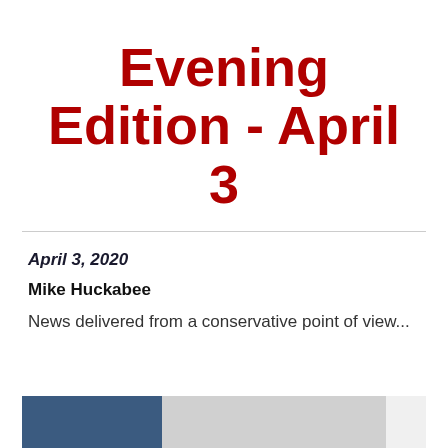Evening Edition - April 3
April 3, 2020
Mike Huckabee
News delivered from a conservative point of view...
[Figure (photo): Partial image strip at bottom of page showing a blue section and grey/white sections, likely a photo or banner image cut off at page bottom]